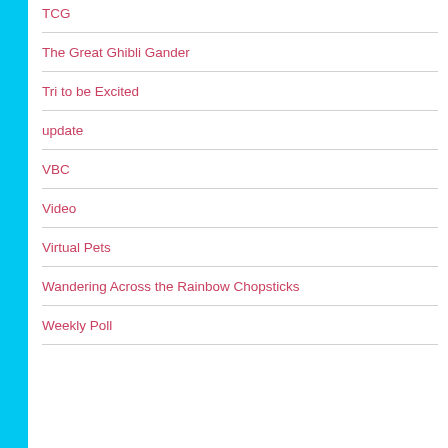TCG
The Great Ghibli Gander
Tri to be Excited
update
VBC
Video
Virtual Pets
Wandering Across the Rainbow Chopsticks
Weekly Poll